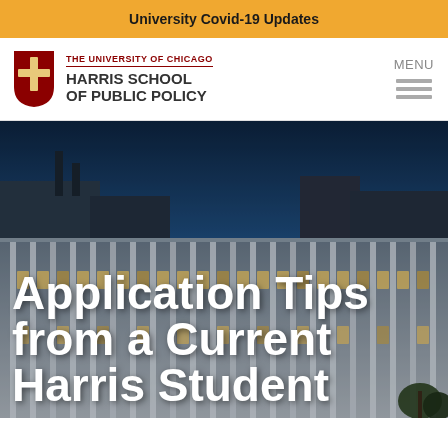University Covid-19 Updates
[Figure (logo): University of Chicago Harris School of Public Policy logo with shield and text]
[Figure (photo): Evening exterior photo of Harris School of Public Policy building with blue sky]
Application Tips from a Current Harris Student